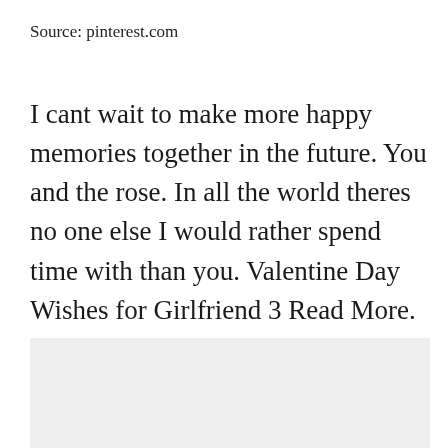Source: pinterest.com
I cant wait to make more happy memories together in the future. You and the rose. In all the world theres no one else I would rather spend time with than you. Valentine Day Wishes for Girlfriend 3 Read More. We do not find the meaning of life by ourselves alone we find it with another.
[Figure (other): Gray placeholder/image box at bottom of page]